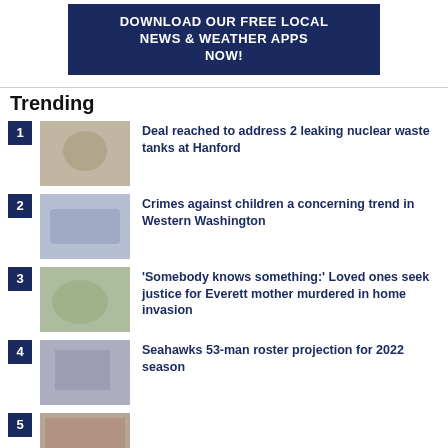[Figure (other): Dark navy blue banner advertising free local news and weather apps download]
Trending
Deal reached to address 2 leaking nuclear waste tanks at Hanford
Crimes against children a concerning trend in Western Washington
'Somebody knows something:' Loved ones seek justice for Everett mother murdered in home invasion
Seahawks 53-man roster projection for 2022 season